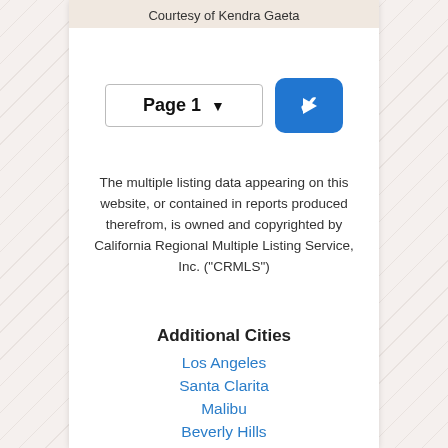Courtesy of Kendra Gaeta
Page 1
The multiple listing data appearing on this website, or contained in reports produced therefrom, is owned and copyrighted by California Regional Multiple Listing Service, Inc. ("CRMLS")
Additional Cities
Los Angeles
Santa Clarita
Malibu
Beverly Hills
Santa Monica